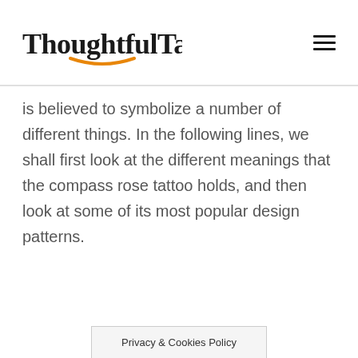ThoughtfulTattoos
is believed to symbolize a number of different things. In the following lines, we shall first look at the different meanings that the compass rose tattoo holds, and then look at some of its most popular design patterns.
Privacy & Cookies Policy